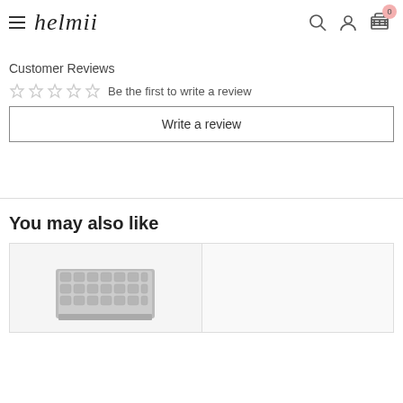helmii — navigation header with menu, search, account, cart (0)
Customer Reviews
☆☆☆☆☆ Be the first to write a review
Write a review
You may also like
[Figure (photo): Product image thumbnail in a card grid below 'You may also like' section — a grey tufted headboard or sofa product partially visible]